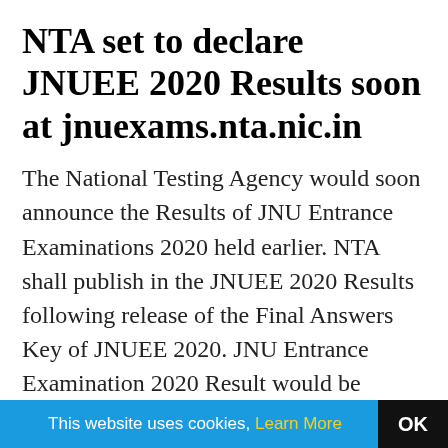NTA set to declare JNUEE 2020 Results soon at jnuexams.nta.nic.in
The National Testing Agency would soon announce the Results of JNU Entrance Examinations 2020 held earlier. NTA shall publish in the JNUEE 2020 Results following release of the Final Answers Key of JNUEE 2020. JNU Entrance Examination 2020 Result would be available for the candidates followed by Announcement and Intimation through
This website uses cookies, Learn More  OK